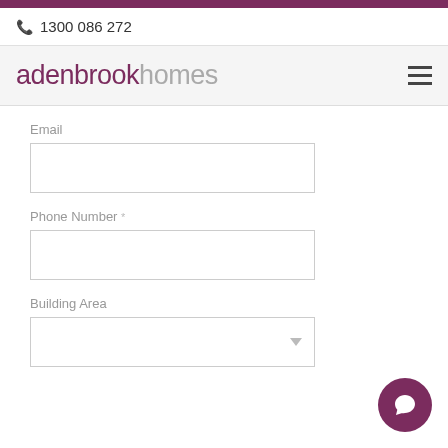1300 086 272
[Figure (logo): Adenbrook Homes logo in purple/grey text]
Email
Phone Number
Building Area